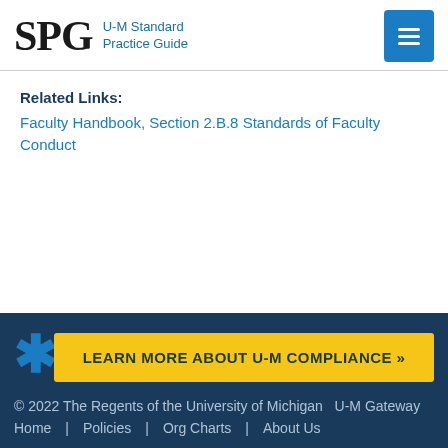SPG U-M Standard Practice Guide
Related Links:
Faculty Handbook, Section 2.B.8 Standards of Faculty Conduct
LEARN MORE ABOUT U-M COMPLIANCE »
© 2022 The Regents of the University of Michigan  U-M Gateway
Home | Policies | Org Charts | About Us